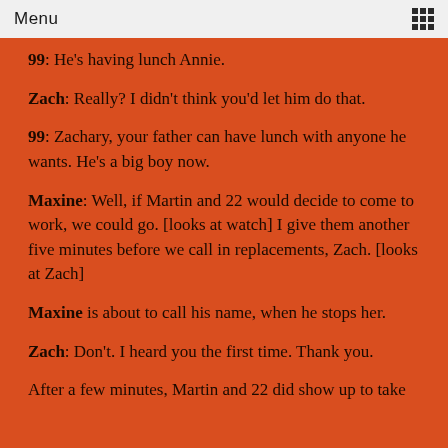Menu
99: He's having lunch Annie.
Zach: Really? I didn't think you'd let him do that.
99: Zachary, your father can have lunch with anyone he wants. He's a big boy now.
Maxine: Well, if Martin and 22 would decide to come to work, we could go. [looks at watch] I give them another five minutes before we call in replacements, Zach. [looks at Zach]
Maxine is about to call his name, when he stops her.
Zach: Don't. I heard you the first time. Thank you.
After a few minutes, Martin and 22 did show up to take